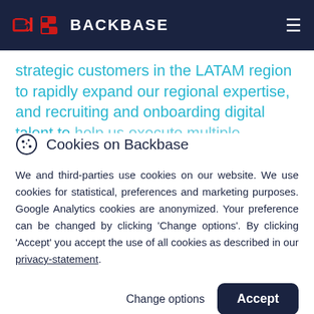BACKBASE
strategic customers in the LATAM region to rapidly expand our regional expertise, and recruiting and onboarding digital talent to help us execute multiple strategic digital
Cookies on Backbase
We and third-parties use cookies on our website. We use cookies for statistical, preferences and marketing purposes. Google Analytics cookies are anonymized. Your preference can be changed by clicking 'Change options'. By clicking 'Accept' you accept the use of all cookies as described in our privacy-statement.
Change options | Accept